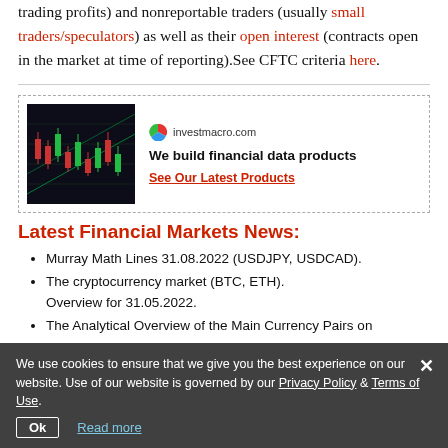trading profits) and nonreportable traders (usually small traders/speculators) as well as their open interest (contracts open in the market at time of reporting).See CFTC criteria here.
[Figure (infographic): Advertisement banner for investmacro.com showing a financial chart on the left and text 'We build financial data products' with a call-to-action 'See Our Latest Products' on the right.]
Latest Financial Markets News:
Murray Math Lines 31.08.2022 (USDJPY, USDCAD).
The cryptocurrency market (BTC, ETH). Overview for 31.05.2022.
The Analytical Overview of the Main Currency Pairs on
We use cookies to ensure that we give you the best experience on our website. Use of our website is governed by our Privacy Policy & Terms of Use.